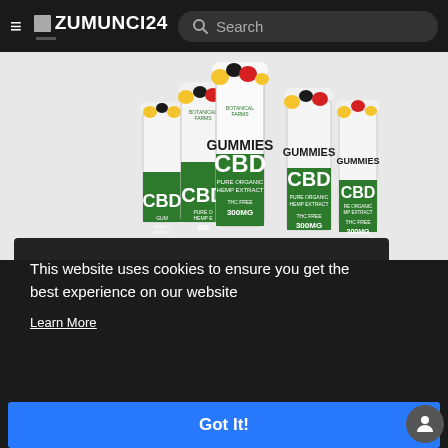ZUMUNCI24 | Search
[Figure (photo): Multiple bottles of CBD Gummies with Pure Organic Hemp Extract, 300MG, THC Free, displayed on a white background]
This website uses cookies to ensure you get the best experience on our website
Learn More
Got It!